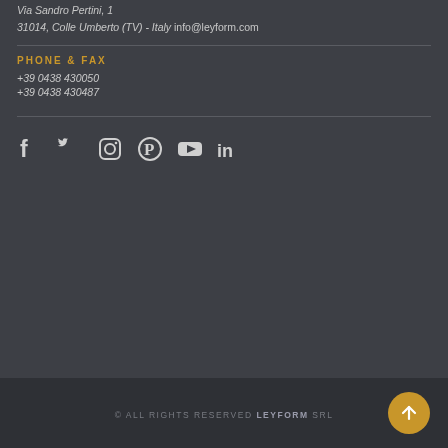Via Sandro Pertini, 1
31014, Colle Umberto (TV) - Italy  info@leyform.com
PHONE & FAX
+39 0438 430050
+39 0438 430487
[Figure (infographic): Row of 6 social media icons: Facebook, Twitter, Instagram, Pinterest, YouTube, LinkedIn]
© ALL RIGHTS RESERVED LEYFORM srl